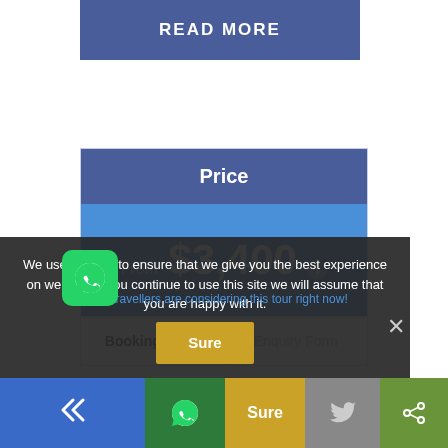READ MORE
Price
From $3,400 ℹ
Booking Form
Enquiry Form
9 travellers are considering this tour right now!
We use cookies to ensure that we give you the best experience on website. If you continue to use this site we will assume that you are happy with it.
Sure